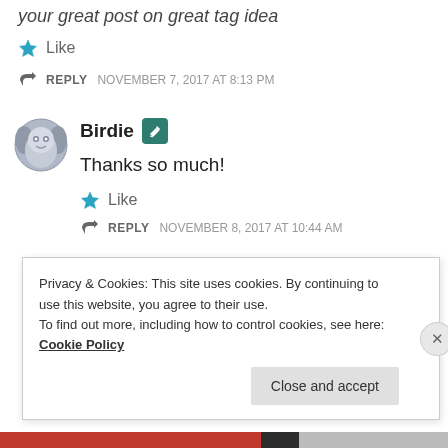your great post on great tag idea
★ Like
↩ REPLY   NOVEMBER 7, 2017 AT 8:13 PM
Birdie
Thanks so much!
★ Like
↩ REPLY   NOVEMBER 8, 2017 AT 10:44 AM
Privacy & Cookies: This site uses cookies. By continuing to use this website, you agree to their use.
To find out more, including how to control cookies, see here: Cookie Policy
Close and accept